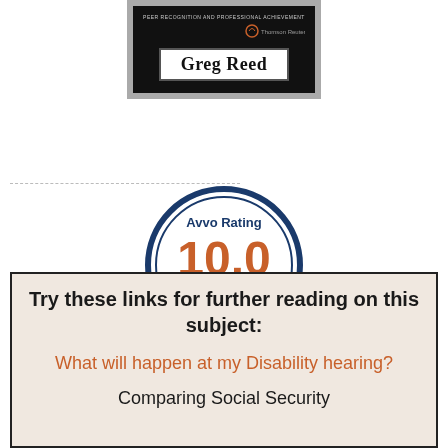[Figure (photo): Award plaque for Greg Reed showing peer recognition and professional achievement with a Thomson Reuters logo]
[Figure (logo): Avvo Rating 10.0 Superb - Top Attorney Social Security badge, circular blue badge with ribbon]
Try these links for further reading on this subject:
What will happen at my Disability hearing?
Comparing Social Security